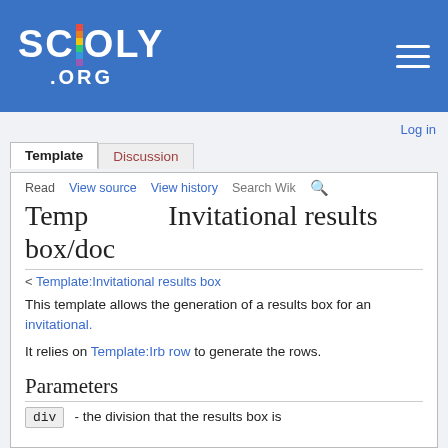[Figure (logo): Scioly.org logo — white bold text SCIOLY with rainbow color bar through I, and .ORG below, on blue background]
SCIOLY .ORG
Log in
Template  Discussion
Read  View source  View history  Search Wik
Template:Invitational results box/doc
< Template:Invitational results box
This template allows the generation of a results box for an invitational.
It relies on Template:Irb row to generate the rows.
Parameters
div - the division that the results box is